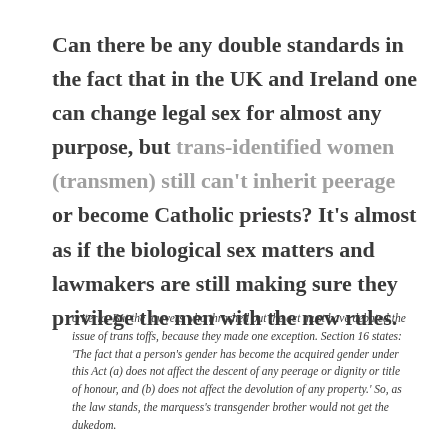Can there be any double standards in the fact that in the UK and Ireland one can change legal sex for almost any purpose, but trans-identified women (transmen) still can't inherit peerage or become Catholic priests? It's almost as if the biological sex matters and lawmakers are still making sure they privilege the men with the new rules.
criteria. But the lawyers who thrashed out the act must have debated the issue of trans toffs, because they made one exception. Section 16 states: 'The fact that a person's gender has become the acquired gender under this Act (a) does not affect the descent of any peerage or dignity or title of honour, and (b) does not affect the devolution of any property.' So, as the law stands, the marquess's transgender brother would not get the dukedom.